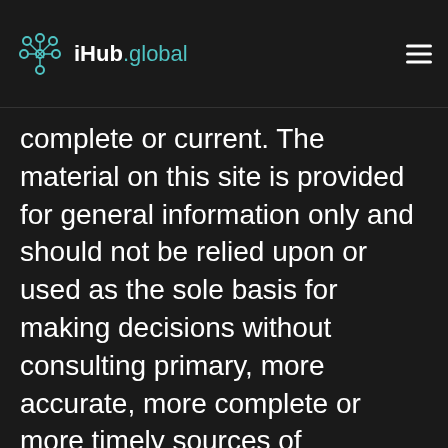iHub.global
complete or current. The material on this site is provided for general information only and should not be relied upon or used as the sole basis for making decisions without consulting primary, more accurate, more complete or more timely sources of information. Any reliance on the material on this site is at your own risk. This site may contain certain historical information. Historical